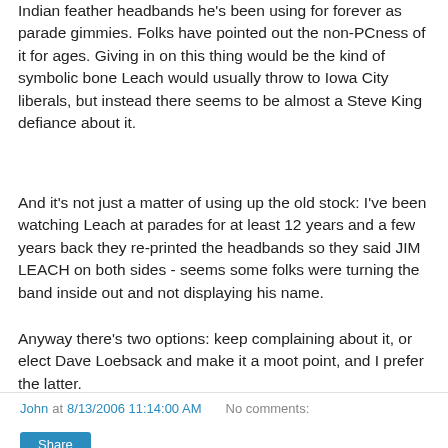Indian feather headbands he's been using for forever as parade gimmies. Folks have pointed out the non-PCness of it for ages. Giving in on this thing would be the kind of symbolic bone Leach would usually throw to Iowa City liberals, but instead there seems to be almost a Steve King defiance about it.
And it's not just a matter of using up the old stock: I've been watching Leach at parades for at least 12 years and a few years back they re-printed the headbands so they said JIM LEACH on both sides - seems some folks were turning the band inside out and not displaying his name.
Anyway there's two options: keep complaining about it, or elect Dave Loebsack and make it a moot point, and I prefer the latter.
John at 8/13/2006 11:14:00 AM   No comments: